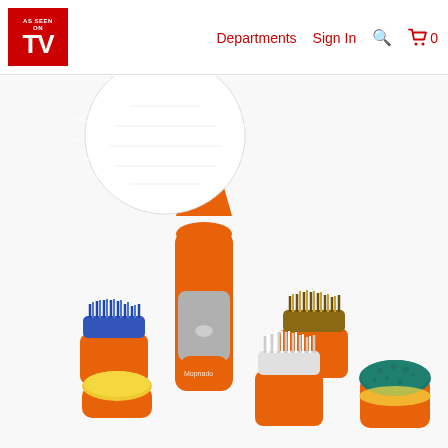AS SEEN ON TV — Departments  Sign In  🔍  🛒 0
[Figure (photo): Orange handheld electric spinning scrubber/brush cleaning tool with multiple interchangeable brush and sponge attachments: a large white soft brush head attached to the main unit, plus a blue bristle brush, yellow sponge pad, brown/gold bristle brush, white bristle brush, and a teal/green sponge pad laid out in front. Brand name 'Mopnado' visible on handle. Product shown on white background.]